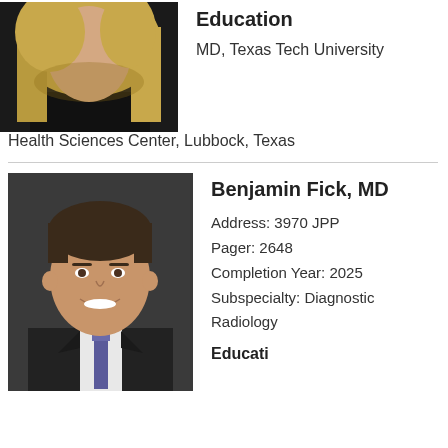[Figure (photo): Headshot photo of a woman with long blonde hair, partial view, cropped at top of page]
Education
MD, Texas Tech University Health Sciences Center, Lubbock, Texas
[Figure (photo): Professional headshot photo of Benjamin Fick, MD — a young man in a dark suit and tie, smiling]
Benjamin Fick, MD
Address: 3970 JPP
Pager: 2648
Completion Year: 2025
Subspecialty: Diagnostic Radiology
Education